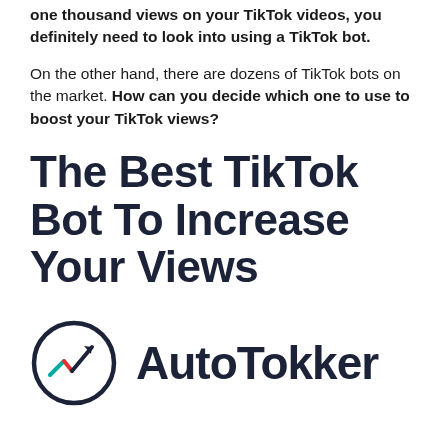one thousand views on your TikTok videos, you definitely need to look into using a TikTok bot.
On the other hand, there are dozens of TikTok bots on the market. How can you decide which one to use to boost your TikTok views?
The Best TikTok Bot To Increase Your Views
[Figure (logo): AutoTokker logo: a circular icon with a trend arrow chart symbol in black, teal, and red, next to bold text reading 'AutoTokker']